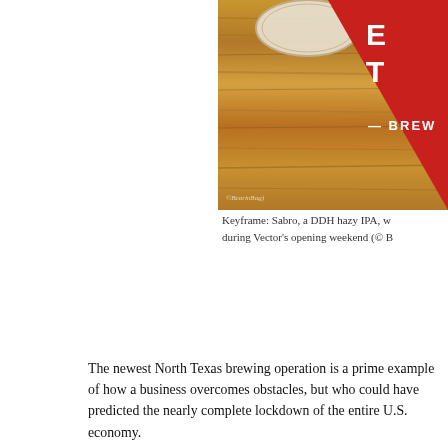[Figure (photo): Photo of Vector Brewing coaster on wood table with red triangle logo visible in upper right corner]
Keyframe: Sabro, a DDH hazy IPA, w… during Vector's opening weekend (© B…
The newest North Texas brewing operation is a prime example of how a business overcomes obstacles, but who could have predicted the nearly complete lockdown of the entire U.S. economy.
Such is the story of Vector Brewing, a Dallas-based project started… shutdown, which stalled small business loans in early 2019, to the… Vector Brewing's path to pouring beer for Lake Highlands locals h…
Nevertheless, the Bradleys have chosen to "trust the journey" from… on the road to making Vector Brewing a reality. So, naturally, they… only way possible in the current environment - that is, on a limite…